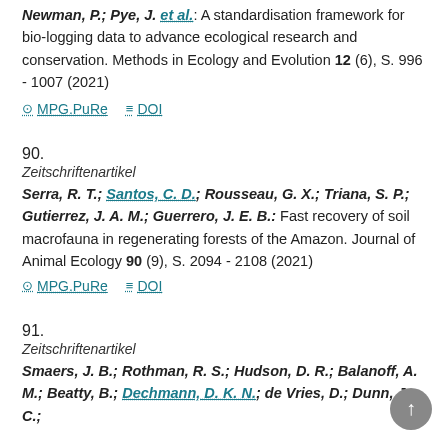Newman, P.; Pye, J. et al.: A standardisation framework for bio-logging data to advance ecological research and conservation. Methods in Ecology and Evolution 12 (6), S. 996 - 1007 (2021)
MPG.PuRe   DOI
90.
Zeitschriftenartikel
Serra, R. T.; Santos, C. D.; Rousseau, G. X.; Triana, S. P.; Gutierrez, J. A. M.; Guerrero, J. E. B.: Fast recovery of soil macrofauna in regenerating forests of the Amazon. Journal of Animal Ecology 90 (9), S. 2094 - 2108 (2021)
MPG.PuRe   DOI
91.
Zeitschriftenartikel
Smaers, J. B.; Rothman, R. S.; Hudson, D. R.; Balanoff, A. M.; Beatty, B.; Dechmann, D. K. N.; de Vries, D.; Dunn, J. C.;